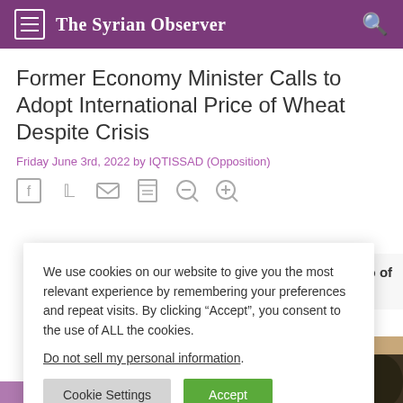The Syrian Observer
Former Economy Minister Calls to Adopt International Price of Wheat Despite Crisis
Friday June 3rd, 2022 by IQTISSAD (Opposition)
[Figure (other): Social media sharing icons: Facebook, Twitter, Email, Print, Zoom out, Zoom in]
ices a kilo of ounds,
We use cookies on our website to give you the most relevant experience by remembering your preferences and repeat visits. By clicking “Accept”, you consent to the use of ALL the cookies.
Do not sell my personal information.
Cookie Settings   Accept
[Figure (photo): Partial photo of person with roped items, warm brown tones]
Subscribe to our newsletter